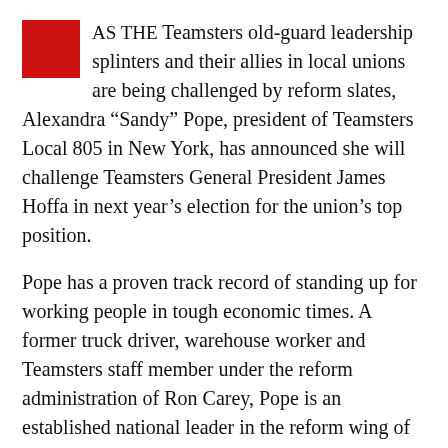AS THE Teamsters old-guard leadership splinters and their allies in local unions are being challenged by reform slates, Alexandra "Sandy" Pope, president of Teamsters Local 805 in New York, has announced she will challenge Teamsters General President James Hoffa in next year's election for the union's top position.
Pope has a proven track record of standing up for working people in tough economic times. A former truck driver, warehouse worker and Teamsters staff member under the reform administration of Ron Carey, Pope is an established national leader in the reform wing of the union and Teamsters for a Democratic Union (TDU), and is former executive director of the Coalition of Labor Union Women.
She has also taught labor studies, and trained and involved new leaders in the labor movement, especially women and minorities. In a union where 30 percent of the 1.3 million members are women, Pope.